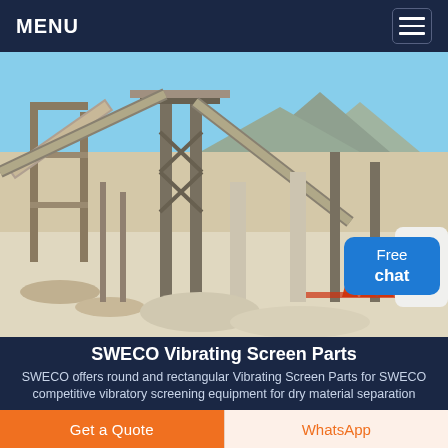MENU
[Figure (photo): Industrial quarry or mining site with conveyor belts, steel structures, and machinery under a blue sky with mountains in the background. A chat assistant avatar and 'Free chat' button overlay the bottom-right.]
SWECO Vibrating Screen Parts
SWECO offers round and rectangular Vibrating Screen Parts for SWECO competitive vibratory screening equipment for dry material separation